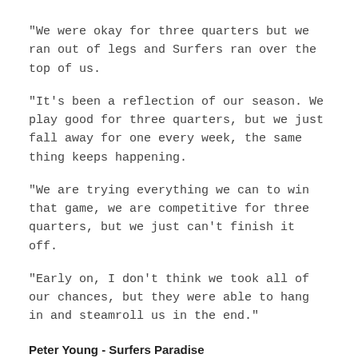“We were okay for three quarters but we ran out of legs and Surfers ran over the top of us.
“It’s been a reflection of our season. We play good for three quarters, but we just fall away for one every week, the same thing keeps happening.
“We are trying everything we can to win that game, we are competitive for three quarters, but we just can’t finish it off.
“Early on, I don’t think we took all of our chances, but they were able to hang in and steamroll us in the end.”
Peter Young - Surfers Paradise
“We didn’t start as well as we wanted to, but I think we finished off really well.